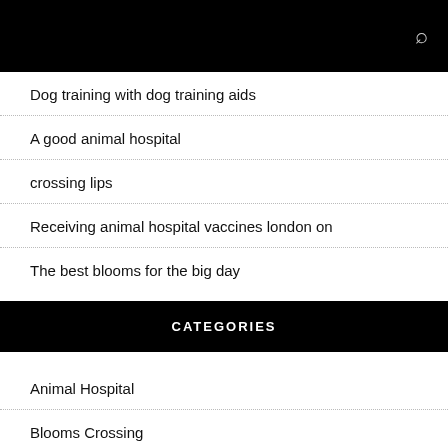Dog training with dog training aids
A good animal hospital
crossing lips
Receiving animal hospital vaccines london on
The best blooms for the big day
CATEGORIES
Animal Hospital
Blooms Crossing
Dog Training